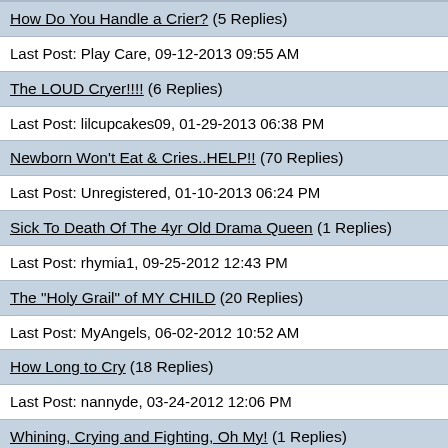How Do You Handle a Crier? (5 Replies)
Last Post: Play Care, 09-12-2013 09:55 AM
The LOUD Cryer!!!! (6 Replies)
Last Post: lilcupcakes09, 01-29-2013 06:38 PM
Newborn Won't Eat & Cries..HELP!! (70 Replies)
Last Post: Unregistered, 01-10-2013 06:24 PM
Sick To Death Of The 4yr Old Drama Queen (1 Replies)
Last Post: rhymia1, 09-25-2012 12:43 PM
The "Holy Grail" of MY CHILD (20 Replies)
Last Post: MyAngels, 06-02-2012 10:52 AM
How Long to Cry (18 Replies)
Last Post: nannyde, 03-24-2012 12:06 PM
Whining, Crying and Fighting, Oh My! (1 Replies)
Last Post: Blackcat31, 03-02-2012 02:42 PM
Would Temp be High if Crying? (7 Replies)
Last Post: Meyou, 01-31-2012 10:00 AM
Comforting the Crier (5 Replies)
Last Post: daycare, 12-21-2011 11:02 AM